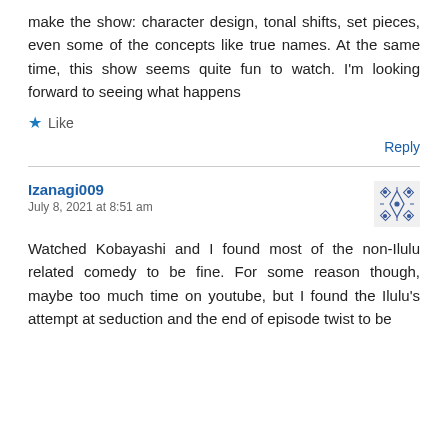make the show: character design, tonal shifts, set pieces, even some of the concepts like true names. At the same time, this show seems quite fun to watch. I'm looking forward to seeing what happens
★ Like
Reply
Izanagi009
July 8, 2021 at 8:51 am
Watched Kobayashi and I found most of the non-Ilulu related comedy to be fine. For some reason though, maybe too much time on youtube, but I found the Ilulu's attempt at seduction and the end of episode twist to be